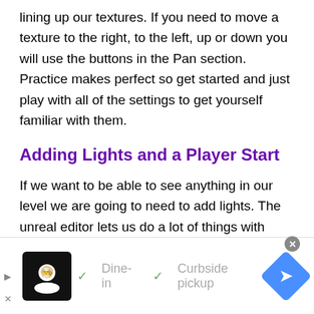lining up our textures. If you need to move a texture to the right, to the left, up or down you will use the buttons in the Pan section. Practice makes perfect so get started and just play with all of the settings to get yourself familiar with them.
Adding Lights and a Player Start
If we want to be able to see anything in our level we are going to need to add lights. The unreal editor lets us do a lot of things with light. Sadly, that is out of the scope of this
[Figure (infographic): Advertisement bar at bottom of page showing a food delivery service logo, with checkmarks for 'Dine-in' and 'Curbside pickup', a blue arrow/navigation icon, play and close buttons.]